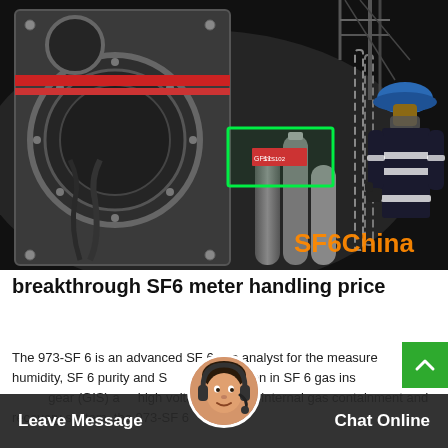[Figure (photo): Industrial scene showing a worker in reflective safety gear standing near large electrical equipment (GIS or high voltage switchgear) in a dark industrial facility. Gas cylinders visible. Green glowing rectangle on equipment. SF6China watermark in orange text at bottom right.]
breakthrough SF6 meter handling price
The 973-SF 6 is an advanced SF 6 gas analyst for the measurement of humidity, SF 6 purity and SO2 concentration in SF 6 gas insulated switchgear (GIS) and high voltage. With its internal gas containment and recovery system, the 973-SF 6
Leave Message   Chat Online